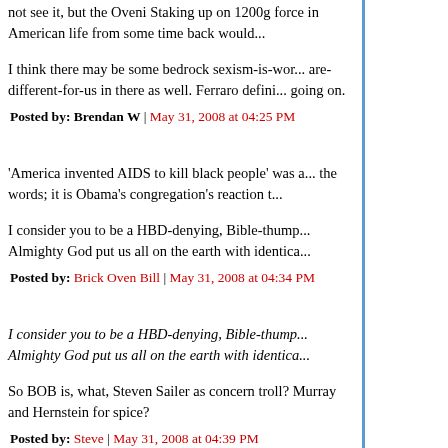not see it, but the Oveni Staking up on 1200g force in American life from some time back would...
I think there may be some bedrock sexism-is-wor... are-different-for-us in there as well. Ferraro defini... going on.
Posted by: Brendan W | May 31, 2008 at 04:25 PM
'America invented AIDS to kill black people' was a... the words; it is Obama's congregation's reaction t...
I consider you to be a HBD-denying, Bible-thump... Almighty God put us all on the earth with identica...
Posted by: Brick Oven Bill | May 31, 2008 at 04:34 PM
I consider you to be a HBD-denying, Bible-thump... Almighty God put us all on the earth with identica...
So BOB is, what, Steven Sailer as concern troll? Murray and Hernstein for spice?
Posted by: Steve | May 31, 2008 at 04:39 PM